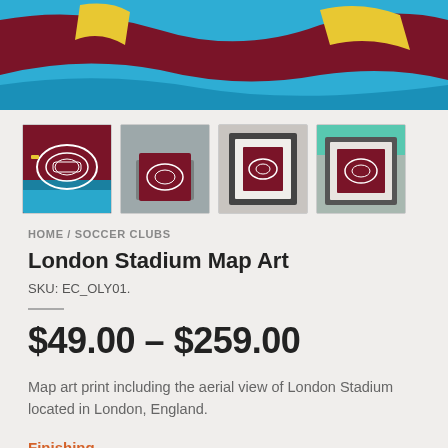[Figure (photo): Top banner showing colorful stadium map art with blue, dark red/maroon and yellow colors]
[Figure (photo): Four thumbnail images of London Stadium Map Art product: standalone print, person holding print, framed print, and framed print held up]
HOME / SOCCER CLUBS
London Stadium Map Art
SKU: EC_OLY01.
$49.00 – $259.00
Map art print including the aerial view of London Stadium located in London, England.
Finishing